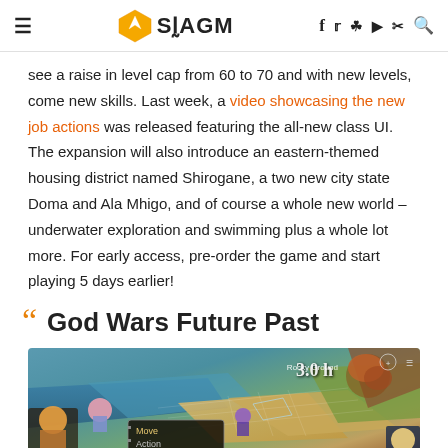SEAGM — navigation header with hamburger menu, logo, and social icons
see a raise in level cap from 60 to 70 and with new levels, come new skills. Last week, a video showcasing the new job actions was released featuring the all-new class UI. The expansion will also introduce an eastern-themed housing district named Shirogane, a two new city state Doma and Ala Mhigo, and of course a whole new world – underwater exploration and swimming plus a whole lot more. For early access, pre-order the game and start playing 5 days earlier!
God Wars Future Past
[Figure (screenshot): God Wars Future Past game screenshot showing a tactical RPG map with units, UI panel showing Move/Action/Status options, 3.0h timer, and Rocky Ground label in top right]